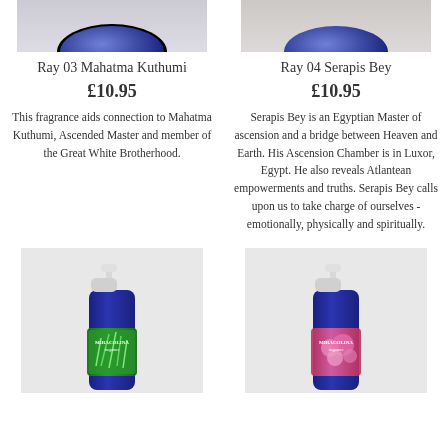[Figure (photo): Partial top view of blue product bottle for Ray 03 Mahatma Kuthumi]
[Figure (photo): Partial top view of blue product bottle for Ray 04 Serapis Bey]
Ray 03 Mahatma Kuthumi
Ray 04 Serapis Bey
£10.95
£10.95
This fragrance aids connection to Mahatma Kuthumi, Ascended Master and member of the Great White Brotherhood.
Serapis Bey is an Egyptian Master of ascension and a bridge between Heaven and Earth. His Ascension Chamber is in Luxor, Egypt. He also reveals Atlantean empowerments and truths. Serapis Bey calls upon us to take charge of ourselves - emotionally, physically and spiritually.
[Figure (photo): Spray bottle of Miracolina fragrance with green botanical label design]
[Figure (photo): Spray bottle of Miracolina fragrance with pink floral label design]